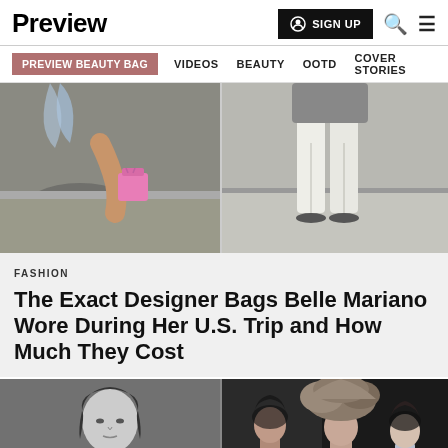Preview
SIGN UP
PREVIEW BEAUTY BAG  VIDEOS  BEAUTY  OOTD  COVER STORIES
[Figure (photo): Two-panel hero image: left panel shows a person holding a small pink designer bag outdoors; right panel shows a person in white wide-leg pants standing on a sidewalk.]
FASHION
The Exact Designer Bags Belle Mariano Wore During Her U.S. Trip and How Much They Cost
[Figure (photo): Two-panel image: left panel is a black-and-white portrait of a young person; right panel shows three people, one wearing a large sculptural headpiece, at what appears to be a fashion event.]